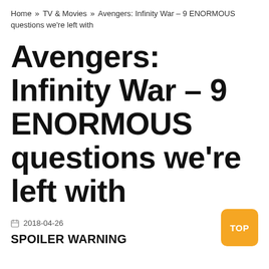Home » TV & Movies » Avengers: Infinity War – 9 ENORMOUS questions we're left with
Avengers: Infinity War – 9 ENORMOUS questions we're left with
2018-04-26
SPOILER WARNING